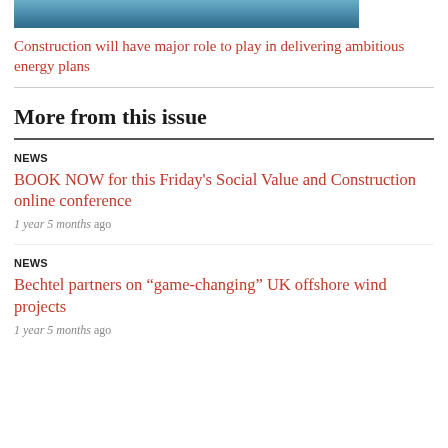[Figure (photo): Cropped photo strip showing blue water or sky, partial image at top of page]
Construction will have major role to play in delivering ambitious energy plans
More from this issue
NEWS
BOOK NOW for this Friday’s Social Value and Construction online conference
1 year 5 months ago
NEWS
Bechtel partners on “game-changing” UK offshore wind projects
1 year 5 months ago